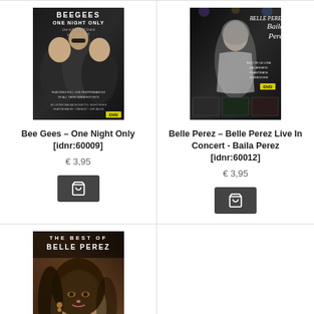[Figure (photo): DVD cover: Bee Gees – One Night Only, Live at the MGM Grand, Las Vegas 1997. Dark cover with three men.]
Bee Gees – One Night Only [idnr:60009]
€ 3,95
[Figure (photo): DVD cover: Belle Perez Live In Concert - Baila Perez. Woman in white dress on stage.]
Belle Perez – Belle Perez Live In Concert - Baila Perez [idnr:60012]
€ 3,95
[Figure (photo): DVD cover: The Best of Belle Perez. Woman with dark hair looking at camera.]